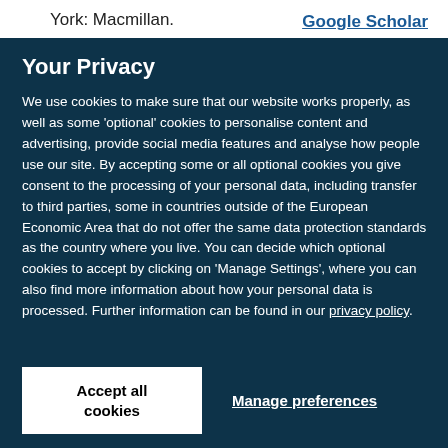York: Macmillan.
Google Scholar
Your Privacy
We use cookies to make sure that our website works properly, as well as some 'optional' cookies to personalise content and advertising, provide social media features and analyse how people use our site. By accepting some or all optional cookies you give consent to the processing of your personal data, including transfer to third parties, some in countries outside of the European Economic Area that do not offer the same data protection standards as the country where you live. You can decide which optional cookies to accept by clicking on 'Manage Settings', where you can also find more information about how your personal data is processed. Further information can be found in our privacy policy.
Accept all cookies
Manage preferences